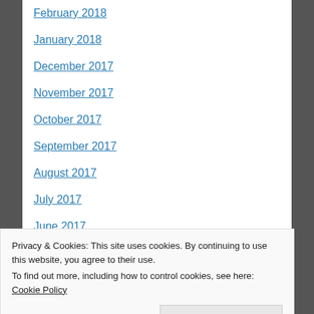February 2018
January 2018
December 2017
November 2017
October 2017
September 2017
August 2017
July 2017
June 2017
May 2017
April 2017
March 2017
Privacy & Cookies: This site uses cookies. By continuing to use this website, you agree to their use.
To find out more, including how to control cookies, see here: Cookie Policy
Close and accept